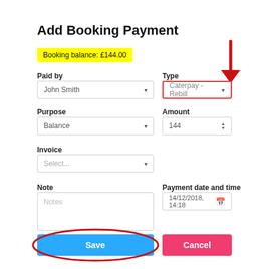Add Booking Payment
Booking balance: £144.00
Paid by
John Smith
Type
Caterpay - Rebill
Purpose
Balance
Amount
144
Invoice
Select...
Note
Notes
Payment date and time
14/12/2018, 14:18
Save
Cancel